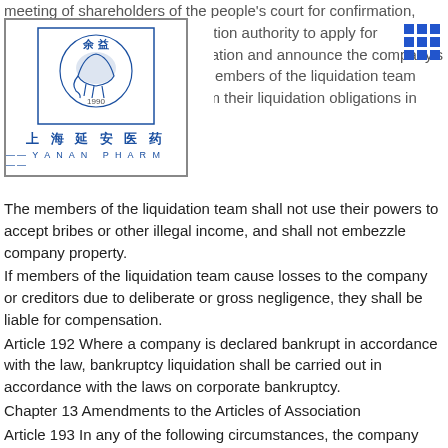meeting of shareholders of the people's court for confirmation, and submit to company registration authority to apply for cancellation of company registration and announce the company's termination. Article [191] members of the liquidation team shall be loyal to their duties, perform their liquidation obligations in accordance with the law.
[Figure (logo): Shanghai Yanan Pharm company logo with Chinese characters 余益 and elephant seal, text 上海延安医药 YANAN PHARM, year 1950]
[Figure (other): Blue grid/dots icon in top right corner]
The members of the liquidation team shall not use their powers to accept bribes or other illegal income, and shall not embezzle company property.
If members of the liquidation team cause losses to the company or creditors due to deliberate or gross negligence, they shall be liable for compensation.
Article 192 Where a company is declared bankrupt in accordance with the law, bankruptcy liquidation shall be carried out in accordance with the laws on corporate bankruptcy.
Chapter 13 Amendments to the Articles of Association
Article 193 In any of the following circumstances, the company shall amend the articles of association:
(1) After the "Company Law" or relevant laws and administrative regulations are amended, the matters stipulated in the articles of association conflict with the provisions of the revised laws and administrative regulations;
(2) The company's circumstances have changed and are inconsistent